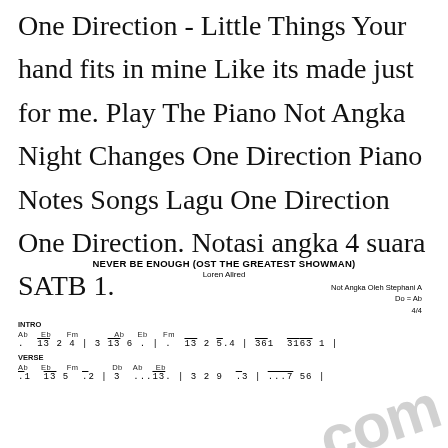One Direction - Little Things Your hand fits in mine Like its made just for me. Play The Piano Not Angka Night Changes One Direction Piano Notes Songs Lagu One Direction One Direction. Notasi angka 4 suara SATB 1.
NEVER BE ENOUGH (OST THE GREATEST SHOWMAN)
Loren Allred
Not Angka Oleh Stephani A
Do = Ab
4/4
INTRO
Ab   Eb   Fm   Ab   Eb   Fm
.  13 2 4 | 3 13 6 . | . 13 2 5.4 | 361 3163 1 |
VERSE
Ab   Eb   Fm   Db   Ab   Eb
.1  13 5  .2 | 3  ...  13.  | 3 2 9  .3 | ...7 56 |